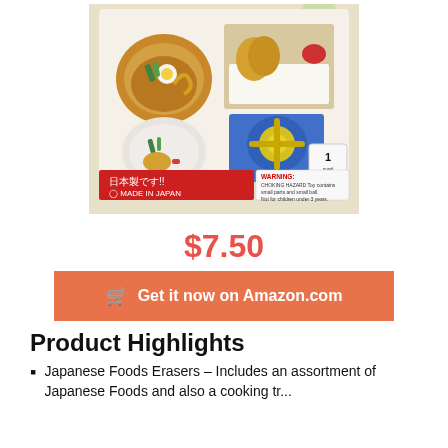[Figure (photo): Product photo of Japanese Foods Erasers set in retail packaging, showing miniature food erasers including ramen bowl, sushi, tempura, and a toy stove. Packaging shows Japanese text '日本製です!!' and 'MADE IN JAPAN' label, along with a choking hazard warning. '1 set' label visible.]
$7.50
🛒 Get it now on Amazon.com
Product Highlights
Japanese Foods Erasers – Includes an assortment of Japanese Foods and also a cooking tr...